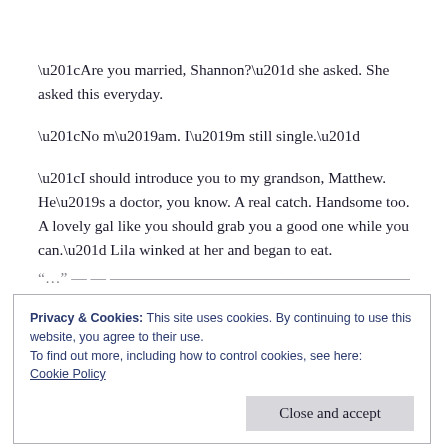“Are you married, Shannon?” she asked. She asked this everyday.
“No m’am. I’m still single.”
“I should introduce you to my grandson, Matthew. He’s a doctor, you know. A real catch. Handsome too. A lovely gal like you should grab you a good one while you can.” Lila winked at her and began to eat.
[cut-off text line]
Privacy & Cookies: This site uses cookies. By continuing to use this website, you agree to their use.
To find out more, including how to control cookies, see here:
Cookie Policy
Close and accept
[cut-off bottom lines]